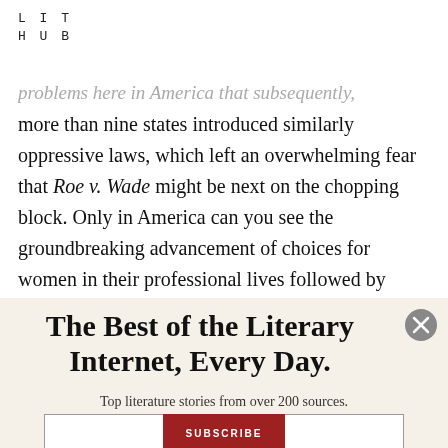LIT
HUB
problems here in America that subsequently, more than nine states introduced similarly oppressive laws, which left an overwhelming fear that Roe v. Wade might be next on the chopping block. Only in America can you see the groundbreaking advancement of choices for women in their professional lives followed by
The Best of the Literary Internet, Every Day.
Top literature stories from over 200 sources.